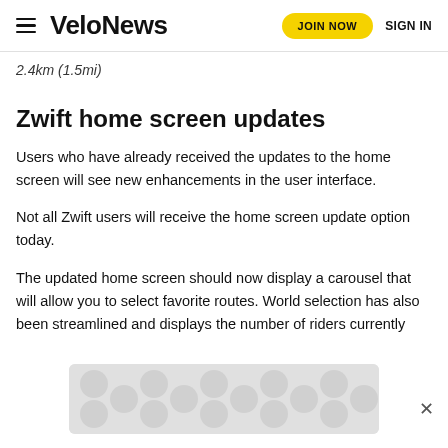VeloNews — JOIN NOW  SIGN IN
2.4km (1.5mi)
Zwift home screen updates
Users who have already received the updates to the home screen will see new enhancements in the user interface.
Not all Zwift users will receive the home screen update option today.
The updated home screen should now display a carousel that will allow you to select favorite routes. World selection has also been streamlined and displays the number of riders currently...